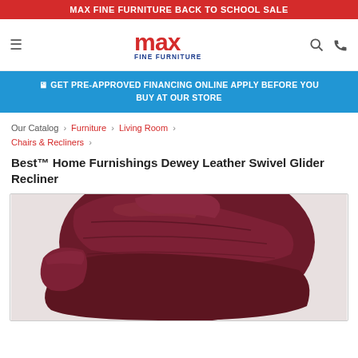MAX FINE FURNITURE BACK TO SCHOOL SALE
[Figure (logo): Max Fine Furniture logo in red and blue]
🖥 GET PRE-APPROVED FINANCING ONLINE APPLY BEFORE YOU BUY AT OUR STORE
Our Catalog › Furniture › Living Room › Chairs & Recliners ›
Best™ Home Furnishings Dewey Leather Swivel Glider Recliner
[Figure (photo): Dark red/burgundy leather recliner chair, close-up of the back and seat cushions]